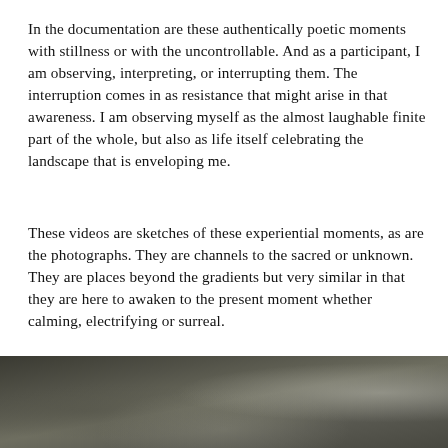In the documentation are these authentically poetic moments with stillness or with the uncontrollable. And as a participant, I am observing, interpreting, or interrupting them. The interruption comes in as resistance that might arise in that awareness. I am observing myself as the almost laughable finite part of the whole, but also as life itself celebrating the landscape that is enveloping me.
These videos are sketches of these experiential moments, as are the photographs. They are channels to the sacred or unknown. They are places beyond the gradients but very similar in that they are here to awaken to the present moment whether calming, electrifying or surreal.
[Figure (photo): A dark, blurred photograph showing a dim outdoor scene with muted olive-grey tones and a faint bright spot in the upper right area.]